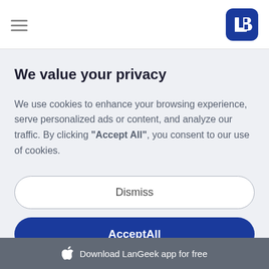[Figure (logo): LanGeek logo — dark blue rounded square with stylized L-B letter mark in white]
We value your privacy
We use cookies to enhance your browsing experience, serve personalized ads or content, and analyze our traffic. By clicking "Accept All", you consent to our use of cookies.
Dismiss
AcceptAll
Download LanGeek app for free